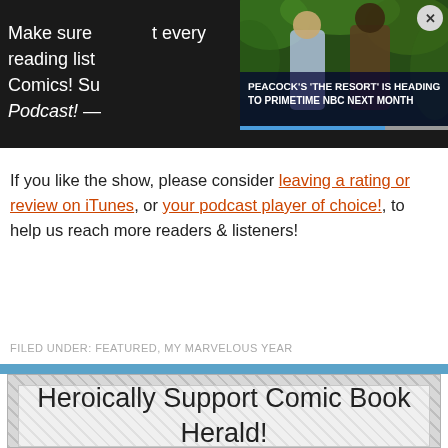[Figure (screenshot): Ad overlay for Peacock's 'The Resort' heading to primetime NBC next month, showing two people in a jungle setting with a close button]
Make sure … at every reading list … Comics! Su… Podcast! —…
If you like the show, please consider leaving a rating or review on iTunes, or your podcast player of choice!, to help us reach more readers & listeners!
FILED UNDER: FEATURED, MY MARVELOUS YEAR
Heroically Support Comic Book Herald!